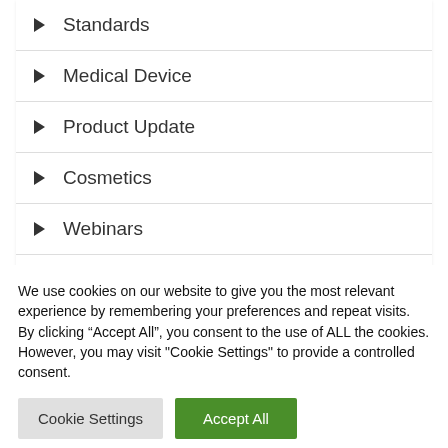Standards
Medical Device
Product Update
Cosmetics
Webinars
Resources
We use cookies on our website to give you the most relevant experience by remembering your preferences and repeat visits. By clicking “Accept All”, you consent to the use of ALL the cookies. However, you may visit "Cookie Settings" to provide a controlled consent.